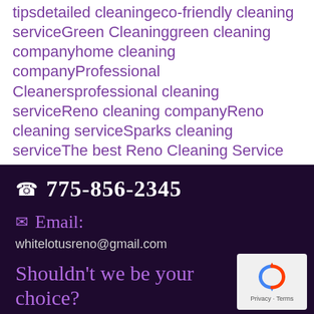tipsdetailed cleaningeco-friendly cleaning serviceGreen Cleaninggreen cleaning companyhome cleaning companyProfessional Cleanersprofessional cleaning serviceReno cleaning companyReno cleaning serviceSparks cleaning serviceThe best Reno Cleaning Service
☎ 775-856-2345
✉ Email:
whitelotusreno@gmail.com
Shouldn't we be your choice?
[Figure (logo): reCAPTCHA badge with blue and red arrow icon and Privacy - Terms text]